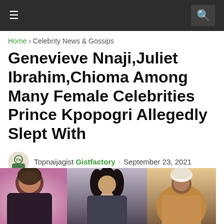Navigation bar with hamburger menu and search icon
Home › Celebrity News & Gossips
Genevieve Nnaji,Juliet Ibrahim,Chioma Among Many Female Celebrities Prince Kpopogri Allegedly Slept With
Topnaijagist Gistfactory · September 23, 2021
[Figure (photo): Photo collage of three people: two women and one man wearing a white cap]